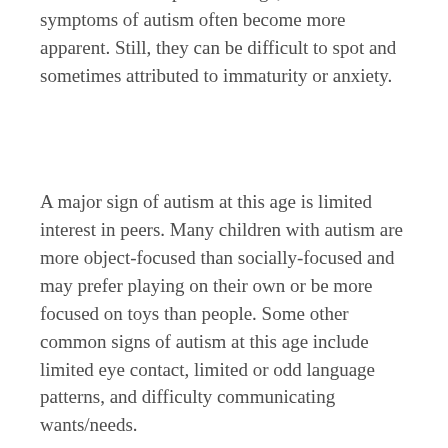As a child enters preschool age, social symptoms of autism often become more apparent. Still, they can be difficult to spot and sometimes attributed to immaturity or anxiety.
A major sign of autism at this age is limited interest in peers. Many children with autism are more object-focused than socially-focused and may prefer playing on their own or be more focused on toys than people. Some other common signs of autism at this age include limited eye contact, limited or odd language patterns, and difficulty communicating wants/needs.
Repetitive behaviors are also noted including repeated play patterns, strong interests in a small number of topics, and repetitive body movements. Children with autism also often display rigidity when it comes to certain routines, rules, or placement of objects.